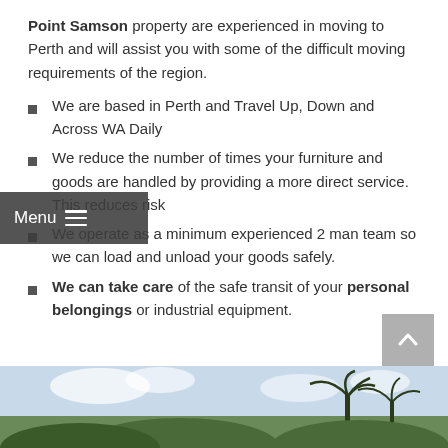Point Samson property are experienced in moving to Perth and will assist you with some of the difficult moving requirements of the region.
We are based in Perth and Travel Up, Down and Across WA Daily
We reduce the number of times your furniture and goods are handled by providing a more direct service. This reduces risk
We operate as a minimum experienced 2 man team so we can load and unload your goods safely.
We can take care of the safe transit of your personal belongings or industrial equipment.
[Figure (photo): Outdoor photo showing a partly cloudy sky with palm trees in the foreground, taken at a tropical or semi-tropical location.]